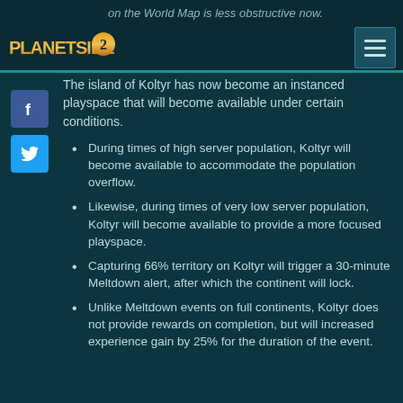on the World Map is less obstructive now.
[Figure (logo): PlanetSide 2 logo]
[Figure (other): Hamburger menu button]
[Figure (other): Facebook social icon]
[Figure (other): Twitter social icon]
The island of Koltyr has now become an instanced playspace that will become available under certain conditions.
During times of high server population, Koltyr will become available to accommodate the population overflow.
Likewise, during times of very low server population, Koltyr will become available to provide a more focused playspace.
Capturing 66% territory on Koltyr will trigger a 30-minute Meltdown alert, after which the continent will lock.
Unlike Meltdown events on full continents, Koltyr does not provide rewards on completion, but will increased experience gain by 25% for the duration of the event.